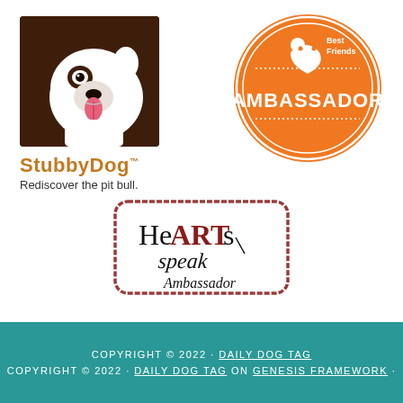[Figure (logo): StubbyDog logo: brown square with cartoon pit bull dog face in white, tongue out. Below: 'StubbyDog™' in orange-brown bold text, 'Rediscover the pit bull.' in dark gray.]
[Figure (logo): Best Friends Ambassador badge: orange circle with 'Best Friends' text and paw icon at top, dotted lines, 'AMBASSADOR' in large white bold letters, outer ring with two white concentric circles.]
[Figure (logo): HeARTs speak Ambassador stamp logo: rounded rectangle with distressed red border. 'He' in black serif, 'ART' in dark red serif, 's' in black, 'speak' in black italic cursive script, 'Ambassador' in black italic script below.]
COPYRIGHT © 2022 · DAILY DOG TAG
COPYRIGHT © 2022 · DAILY DOG TAG ON GENESIS FRAMEWORK ·